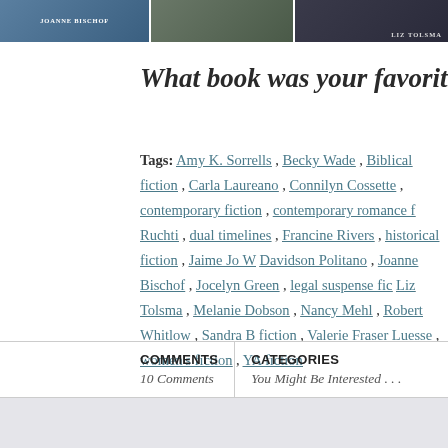[Figure (illustration): Three book covers shown side by side in a banner: one with JOANNE BISCHOF text, one with a dark romantic image, and one with LIZ TOLSMA text]
What book was your favorite r
Tags: Amy K. Sorrells, Becky Wade, Biblical fiction, Carla Laureano, Connilyn Cossette, contemporary fiction, contemporary romance f, Ruchti, dual timelines, Francine Rivers, historical fiction, Jaime Jo W, Davidson Politano, Joanne Bischof, Jocelyn Green, legal suspense fic, Liz Tolsma, Melanie Dobson, Nancy Mehl, Robert Whitlow, Sandra B, fiction, Valerie Fraser Luesse, women's fiction, YA fiction
| COMMENTS | CATEGORIES |
| --- | --- |
| 10 Comments | You Might Be Interested . . . |